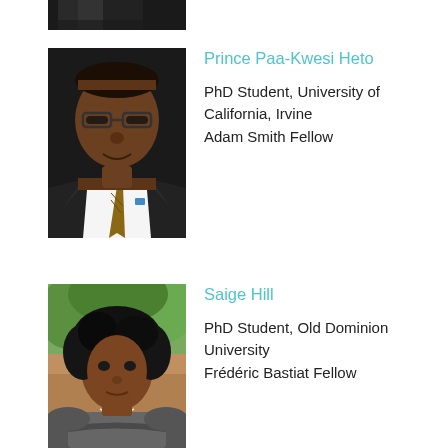[Figure (photo): Partial photo strip at top of page showing bottom portion of a person in dark clothing]
[Figure (photo): Professional headshot of Prince Paa-Kwesi Heto, a man wearing glasses, a dark suit, and a tie]
Prince Paa-Kwesi Heto
PhD Student, University of California, Irvine
Adam Smith Fellow
[Figure (photo): Photo of Saige Hill, a young woman with curly hair, outdoors with greenery in background]
Saige Hill
PhD Student, Old Dominion University
Frédéric Bastiat Fellow